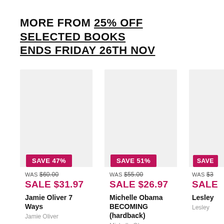MORE FROM 25% OFF SELECTED BOOKS ENDS FRIDAY 26TH NOV
[Figure (illustration): Product card for Jamie Oliver 7 Ways book, showing grey placeholder image, SAVE 47% badge, WAS $60.00 strikethrough, SALE $31.97 in pink, book title Jamie Oliver 7 Ways, author Jamie Oliver]
[Figure (illustration): Product card for Michelle Obama BECOMING (hardback) book, showing grey placeholder image, SAVE 51% badge, WAS $55.00 strikethrough, SALE $26.97 in pink, book title Michelle Obama BECOMING (hardback), author Michelle Obama]
[Figure (illustration): Partially visible third product card showing SAVE badge, WAS $3x strikethrough, SALE price, author Lesley, partially cropped on right edge]